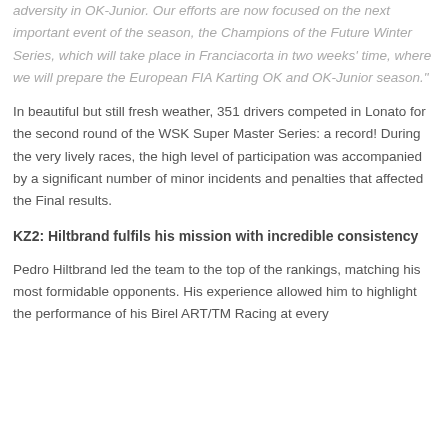adversity in OK-Junior. Our efforts are now focused on the next important event of the season, the Champions of the Future Winter Series, which will take place in Franciacorta in two weeks' time, where we will prepare the European FIA Karting OK and OK-Junior season."
In beautiful but still fresh weather, 351 drivers competed in Lonato for the second round of the WSK Super Master Series: a record! During the very lively races, the high level of participation was accompanied by a significant number of minor incidents and penalties that affected the Final results.
KZ2: Hiltbrand fulfils his mission with incredible consistency
Pedro Hiltbrand led the team to the top of the rankings, matching his most formidable opponents. His experience allowed him to highlight the performance of his Birel ART/TM Racing at every